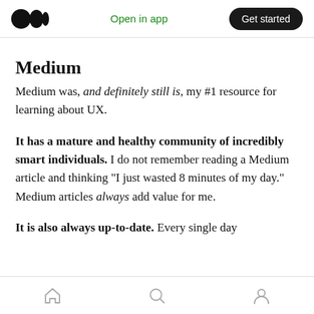Medium logo | Open in app | Get started
Medium
Medium was, and definitely still is, my #1 resource for learning about UX.
It has a mature and healthy community of incredibly smart individuals. I do not remember reading a Medium article and thinking “I just wasted 8 minutes of my day.” Medium articles always add value for me.
It is also always up-to-date. Every single day
Home | Search | Profile